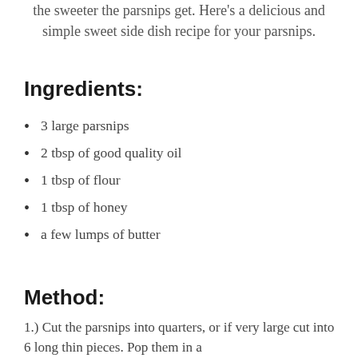the sweeter the parsnips get. Here's a delicious and simple sweet side dish recipe for your parsnips.
Ingredients:
3 large parsnips
2 tbsp of good quality oil
1 tbsp of flour
1 tbsp of honey
a few lumps of butter
Method:
1.) Cut the parsnips into quarters, or if very large cut into 6 long thin pieces. Pop them in a